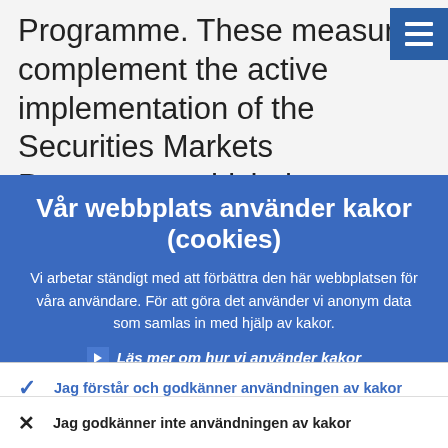Programme. These measures complement the active implementation of the Securities Markets Programme which the Governing
Vår webbplats använder kakor (cookies)
Vi arbetar ständigt med att förbättra den här webbplatsen för våra användare. För att göra det använder vi anonym data som samlas in med hjälp av kakor.
› Läs mer om hur vi använder kakor
✓ Jag förstår och godkänner användningen av kakor
✗ Jag godkänner inte användningen av kakor